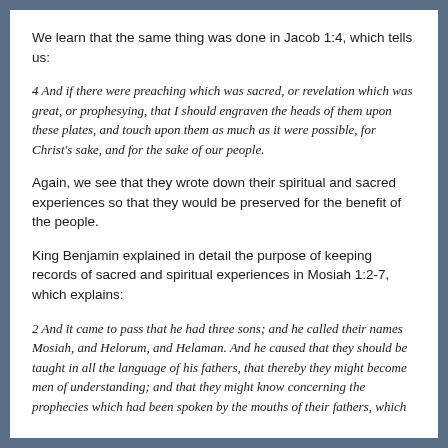We learn that the same thing was done in Jacob 1:4, which tells us:
4 And if there were preaching which was sacred, or revelation which was great, or prophesying, that I should engraven the heads of them upon these plates, and touch upon them as much as it were possible, for Christ's sake, and for the sake of our people.
Again, we see that they wrote down their spiritual and sacred experiences so that they would be preserved for the benefit of the people.
King Benjamin explained in detail the purpose of keeping records of sacred and spiritual experiences in Mosiah 1:2-7, which explains:
2 And it came to pass that he had three sons; and he called their names Mosiah, and Helorum, and Helaman. And he caused that they should be taught in all the language of his fathers, that thereby they might become men of understanding; and that they might know concerning the prophecies which had been spoken by the mouths of their fathers, which were delivered them by the hand of the Lord.